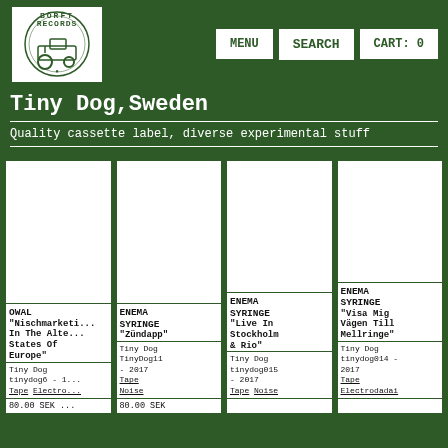BÖRFT RECORDS | MENU | SEARCH | CART: 0
Tiny Dog, Sweden
Quality cassette label, diverse experimental stuff
[Figure (other): Product card: OWAL - "Nischmarketi... In The Alte... States Of Europe", Tiny Dog tinydog6 - 1... Tape Electro... 80.00 SEK]
[Figure (other): Product card: ENEMA SYRINGE - "Zündapp", Tiny Dog TinyDog11 - 2017, Tape Noise, 80.00 SEK]
[Figure (other): Product card: ENEMA SYRINGE - "Live In Stockholm & Rio", Tiny Dog tinydog015 - 2017, Tape Noise]
[Figure (other): Product card: ENEMA SYRINGE - "Visa Mig Vägen Till Mellringe", Tiny Dog tinydog014 - 2017, Tape Electrodadai]